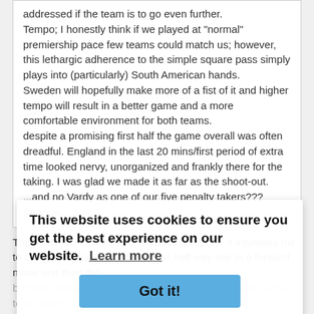addressed if the team is to go even further.
Tempo; I honestly think if we played at "normal" premiership pace few teams could match us; however, this lethargic adherence to the simple square pass simply plays into (particularly) South American hands.
Sweden will hopefully make more of a fist of it and higher tempo will result in a better game and a more comfortable environment for both teams.
despite a promising first half the game overall was often dreadful. England in the last 20 mins/first period of extra time looked nervy, unorganized and frankly there for the taking. I was glad we made it as far as the shoot-out.
...and no Vardy as one of our five penalty takers??? Strange........
The point you make about tempo is bang on - it infuriates me to death that England got over the half way line in a forward move and then the ball goes backwards to a center back; then sideways to his team mate ...
Team selection of Young on the left will inevitably slow things down as he can't/won't get past his man but always cuts back inside on his good foot - compare this with the Alli case in ET when he got behind the defence and crossed the ball which actually only just missed.
Dier is a center back playing midfield but you can see his instincts are
This website uses cookies to ensure you get the best experience on our website.  Learn more
Got it!